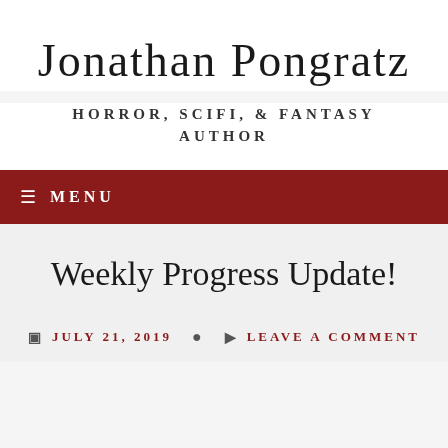Jonathan Pongratz
HORROR, SCIFI, & FANTASY AUTHOR
≡ MENU
Weekly Progress Update!
JULY 21, 2019   LEAVE A COMMENT